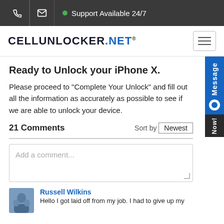Support Available 24/7
[Figure (logo): CELLUNLOCKER.NET logo in dark bold text]
Ready to Unlock your iPhone X.
Please proceed to “Complete Your Unlock” and fill out all the information as accurately as possible to see if we are able to unlock your device.
21 Comments
Sort by Newest
Add a comment...
Russell Wilkins
Hello I got laid off from my job. I had to give up my